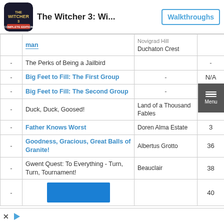The Witcher 3: Wi... | Walkthroughs
|  | Quest Name | Location | Level |
| --- | --- | --- | --- |
| - | main (truncated) | Novigrad Hill / Duchaton Crest |  |
| - | The Perks of Being a Jailbird |  | - |
| - | Big Feet to Fill: The First Group | - | N/A |
| - | Big Feet to Fill: The Second Group | - | N/A |
| - | Duck, Duck, Goosed! | Land of a Thousand Fables | 47 |
| - | Father Knows Worst | Doren Alma Estate | 3- |
| - | Goodness, Gracious, Great Balls of Granite! | Albertus Grotto | 36 |
| - | Gwent Quest: To Everything - Turn, Turn, Tournament! | Beauclair | 38 |
| - |  |  | 40 |
[Figure (other): Blue advertisement banner with X and play icon buttons at bottom]